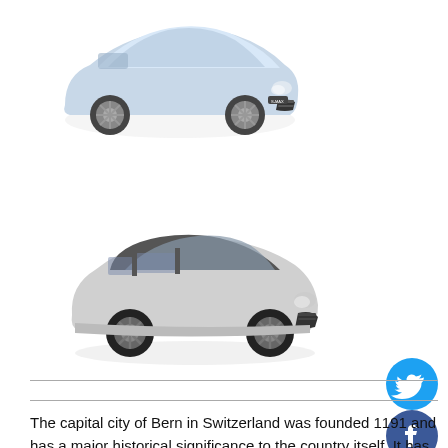[Figure (photo): Silver/light blue Ford S-MAX car facing front-right angle on white background]
[Figure (photo): Silver/grey minivan-style vehicle facing front-right angle on white background]
[Figure (illustration): Twitter share button - cyan circle with white bird icon]
[Figure (illustration): Facebook share button - dark blue circle with white f icon]
The capital city of Bern in Switzerland was founded 1191 and has a major historical significance to the country itself. It has a vast amount of different activities and provides a great place to span out and enjoy the rest of the landlocked European country. Many people